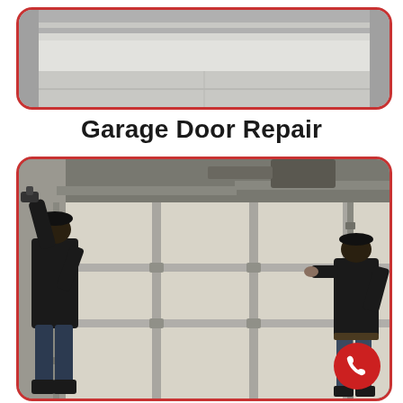[Figure (photo): Top photo showing the interior bottom of a white garage door with concrete floor, framed with red rounded border]
Garage Door Repair
[Figure (photo): Two workers repairing/installing a large white sectional garage door. Worker on left using a drill, worker on right pushing a panel. Metal tracks and hardware visible. Red rounded border frame with a red phone call button in lower right corner.]